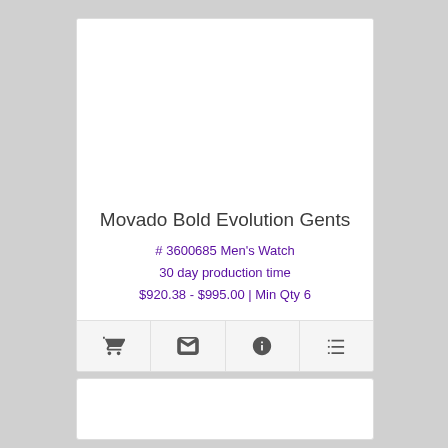Movado Bold Evolution Gents
# 3600685 Men's Watch
30 day production time
$920.38 - $995.00 | Min Qty 6
[Figure (other): Four action icon buttons: shopping cart, envelope/email, info, and list/details]
[Figure (other): Bottom card area, blank white rectangle]